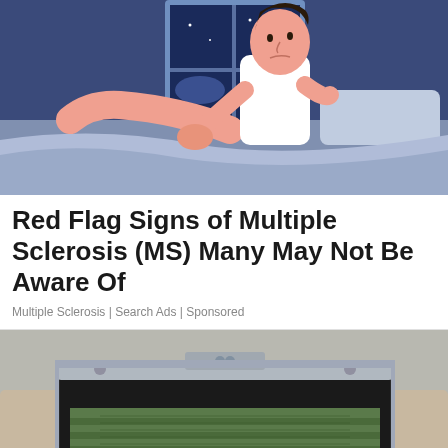[Figure (illustration): Illustration of a man sitting on a bed at night scratching or touching his leg, with a window showing a dark night sky in the background. Blue and pink color palette, flat cartoon style.]
Red Flag Signs of Multiple Sclerosis (MS) Many May Not Be Aware Of
Multiple Sclerosis | Search Ads | Sponsored
[Figure (photo): Photo of a person holding open a black briefcase filled with stacks of cash/money bills, wearing a light grey jacket and watch.]